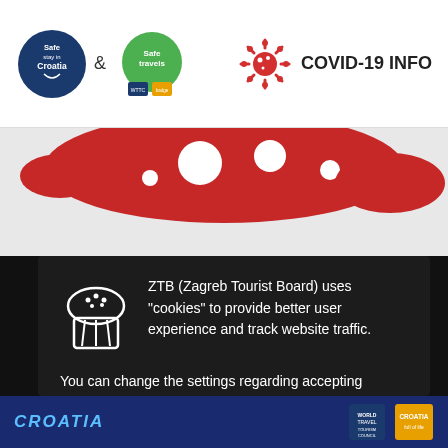[Figure (screenshot): Website header with Safe Stay in Croatia logo, ampersand, Safe Travels logo with certification badges, and COVID-19 INFO icon with coronavirus graphic on right]
[Figure (photo): Red coronavirus blob/splash graphic on white-grey background, partially visible at top of page content area]
ZTB (Zagreb Tourist Board) uses "cookies" to provide better user experience and track website traffic. You can change the settings regarding accepting cookies in your internet browser. By continuing to use the site, you agree to the use of cookies for the above-stated purposes. Click "I agree" to continue. You can read more about cookies here.
I Agree